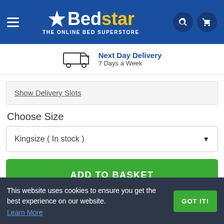[Figure (logo): Bedstar logo — white star icon, 'Bed' in white bold text, 'star' in yellow bold text, subtitle 'THE ONLINE BED SUPERSTORE' in white capital letters, on a blue background. Navigation hamburger menu on left, search and cart icons on right.]
Next Day Delivery
7 Days a Week
Show Delivery Slots
Choose Size
Kingsize ( In stock )
ADD TO BASKET
This website uses cookies to ensure you get the best experience on our website.
Learn More
GOT IT!